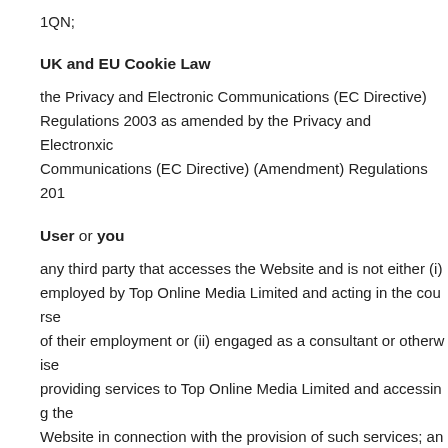1QN;
UK and EU Cookie Law
the Privacy and Electronic Communications (EC Directive) Regulations 2003 as amended by the Privacy and Electronxic Communications (EC Directive) (Amendment) Regulations 201
User or you
any third party that accesses the Website and is not either (i) employed by Top Online Media Limited and acting in the course of their employment or (ii) engaged as a consultant or otherwise providing services to Top Online Media Limited and accessing the Website in connection with the provision of such services; an
Website
the website that you are currently using, https://www.whitehatcasinos.com, and any sub-domains of th